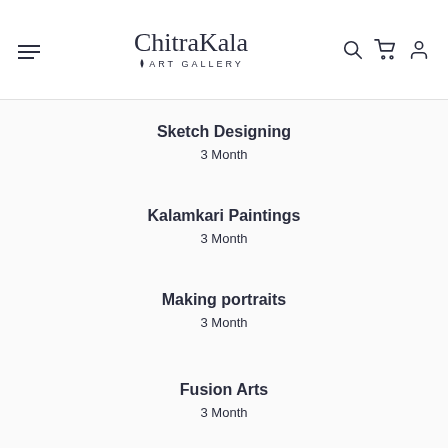ChitraKala ART GALLERY
Sketch Designing
3 Month
Kalamkari Paintings
3 Month
Making portraits
3 Month
Fusion Arts
3 Month